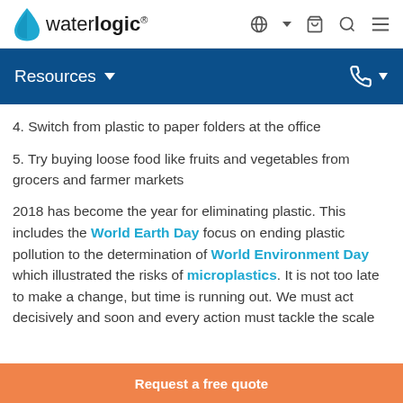waterlogic — navigation bar with globe, basket, search, menu icons
Resources ˅
4. Switch from plastic to paper folders at the office
5. Try buying loose food like fruits and vegetables from grocers and farmer markets
2018 has become the year for eliminating plastic. This includes the World Earth Day focus on ending plastic pollution to the determination of World Environment Day which illustrated the risks of microplastics. It is not too late to make a change, but time is running out. We must act decisively and soon and every action must tackle the scale
Request a free quote